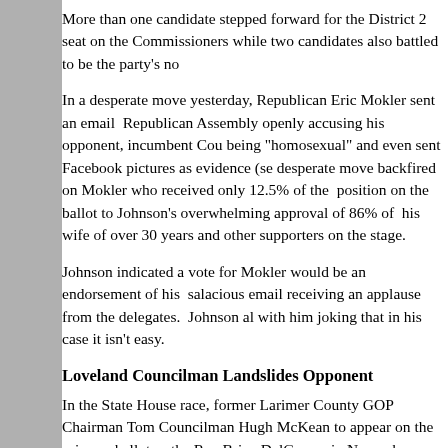More than one candidate stepped forward for the District 2 seat on the Commissioners while two candidates also battled to be the party's no...
In a desperate move yesterday, Republican Eric Mokler sent an email to the Republican Assembly openly accusing his opponent, incumbent Cou... being "homosexual" and even sent Facebook pictures as evidence (se... desperate move backfired on Mokler who received only 12.5% of the... position on the ballot to Johnson's overwhelming approval of 86% of his wife of over 30 years and other supporters on the stage.
Johnson indicated a vote for Mokler would be an endorsement of his salacious email receiving an applause from the delegates.  Johnson al... with him joking that in his case it isn't easy.
Loveland Councilman Landslides Opponent
In the State House race, former Larimer County GOP Chairman Tom... Councilman Hugh McKean to appear on the primary ballot as the Rep... Brian DelGrosso in November.   Former State House Representative... education activist and founder of Loveland's 'Liberty Watch' Nancy R... Lucero who gave a powerful speech describing himself as the true co... delegate's ideals in Colorado's State Legislature.
Later, Councilman Hugh McKean received an emphatic endorsement... Pride who describe an emergency in Loveland when police staffing l...